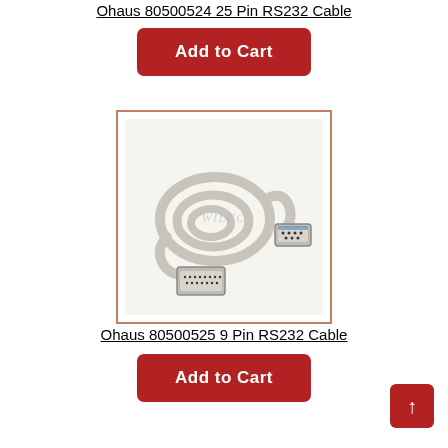Ohaus 80500524 25 Pin RS232 Cable
[Figure (photo): Photo of a gray RS232 serial cable with DB-9 and DB-25 connectors, coiled on white background with watermark text]
Ohaus 80500525 9 Pin RS232 Cable